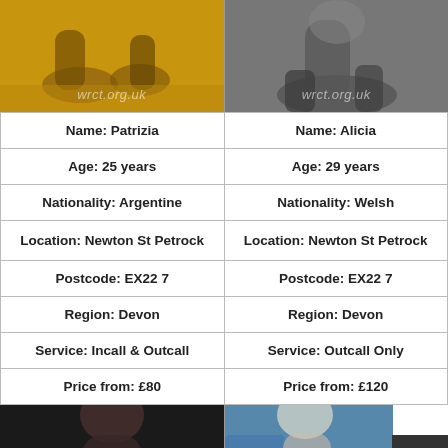[Figure (photo): Top-left photo: partial view of a person on a yellow/gold background with wrct.org.uk watermark]
[Figure (photo): Top-right photo: partial view of a person on a dark background with wrct.org.uk watermark]
| Name: Patrizia | Name: Alicia |
| Age: 25 years | Age: 29 years |
| Nationality: Argentine | Nationality: Welsh |
| Location: Newton St Petrock | Location: Newton St Petrock |
| Postcode: EX22 7 | Postcode: EX22 7 |
| Region: Devon | Region: Devon |
| Service: Incall & Outcall | Service: Outcall Only |
| Price from: £80 | Price from: £120 |
[Figure (photo): Bottom-left photo: dark-haired woman]
[Figure (photo): Bottom-right photo: blonde woman on blue background]